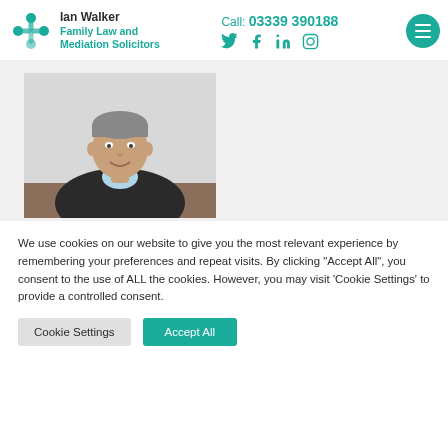Ian Walker Family Law and Mediation Solicitors | Call: 03339 390188
[Figure (photo): Photo of a middle-aged man in a dark blazer and light blue shirt, smiling, seated, against a light grey background.]
We use cookies on our website to give you the most relevant experience by remembering your preferences and repeat visits. By clicking "Accept All", you consent to the use of ALL the cookies. However, you may visit 'Cookie Settings' to provide a controlled consent.
Cookie Settings | Accept All